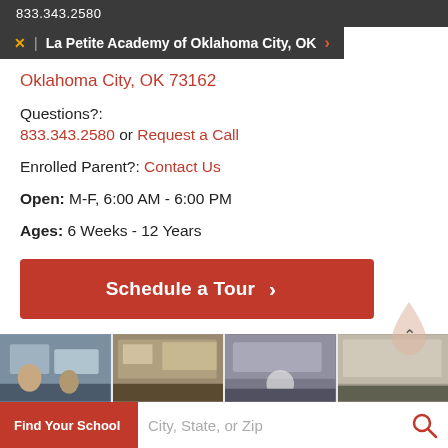833.343.2580
La Petite Academy of Oklahoma City, OK
Oklahoma City, OK 73162
Questions?: 833.343.2580 or Request a Call
Enrolled Parent?: Contact Us
Open: M-F, 6:00 AM - 6:00 PM
Ages: 6 Weeks - 12 Years
Schedule a Tour
[Figure (photo): Four thumbnail photos of La Petite Academy classrooms]
Find Your School  City, State, or Zip